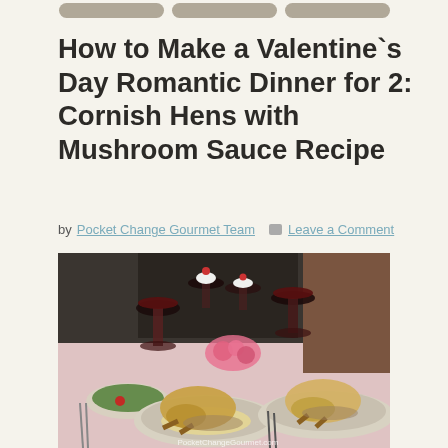[Figure (other): Navigation bar with three rounded-rectangle buttons at the top of the page]
How to Make a Valentine`s Day Romantic Dinner for 2: Cornish Hens with Mushroom Sauce Recipe
by Pocket Change Gourmet Team  Leave a Comment
[Figure (photo): A romantic dinner table set for two with Cornish hens on plates, wine glasses with red wine, a dessert with whipped cream and strawberry, a salad, and pink roses, photographed indoors near a fireplace. Watermark: PocketChangeGourmet.com]